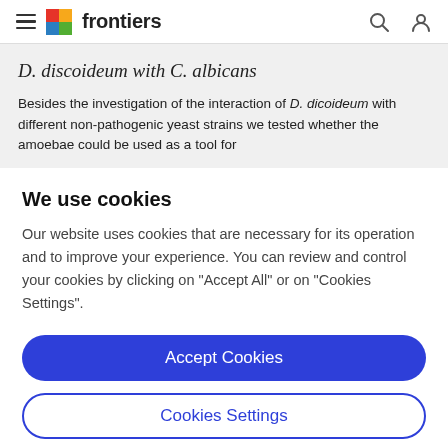frontiers
D. discoideum with C. albicans
Besides the investigation of the interaction of D. dicoideum with different non-pathogenic yeast strains we tested whether the amoebae could be used as a tool for
We use cookies
Our website uses cookies that are necessary for its operation and to improve your experience. You can review and control your cookies by clicking on "Accept All" or on "Cookies Settings".
Accept Cookies
Cookies Settings